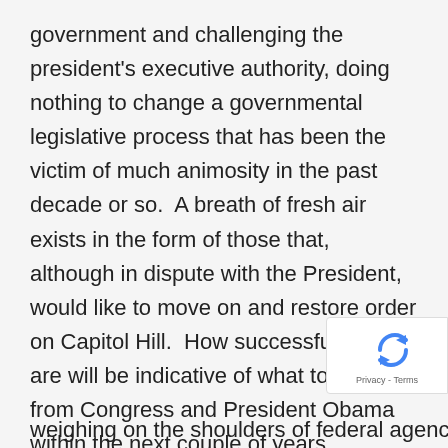government and challenging the president's executive authority, doing nothing to change a governmental legislative process that has been the victim of much animosity in the past decade or so.  A breath of fresh air exists in the form of those that, although in dispute with the President, would like to move on and restore order on Capitol Hill.  How successful they are will be indicative of what to expect from Congress and President Obama within the next couple of years.
How far reaching are these changes, and how many immigrants and their families actually stand to benefit from them? Only time will tell, weighing on the shoulders of federal agencies